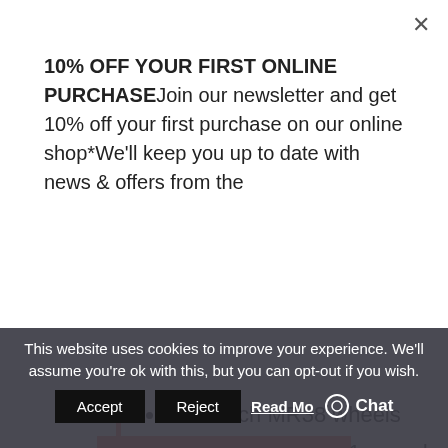10% OFF YOUR FIRST ONLINE PURCHASEJoin our newsletter and get 10% off your first purchase on our online shop*We'll keep you up to date with news & offers from the
CLAIM OFFER
Microtech MR38 wheels
Shimano Ultegra 11-speed groupset
11-32 cassette
BASSO ASTRA REVIEWS
This website uses cookies to improve your experience. We'll assume you're ok with this, but you can opt-out if you wish.
Accept  Reject  Read Mo  Chat